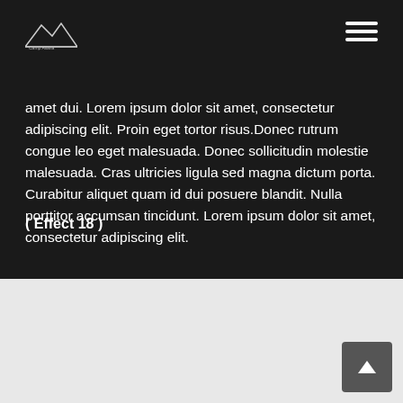[Figure (logo): Small mountain/landscape logo in top left on dark background]
[Figure (other): Hamburger menu icon (three horizontal lines) in top right on dark background]
amet dui. Lorem ipsum dolor sit amet, consectetur adipiscing elit. Proin eget tortor risus.Donec rutrum congue leo eget malesuada. Donec sollicitudin molestie malesuada. Cras ultricies ligula sed magna dictum porta. Curabitur aliquet quam id dui posuere blandit. Nulla porttitor accumsan tincidunt. Lorem ipsum dolor sit amet, consectetur adipiscing elit.
( Effect 18 )
Love Your
[Figure (other): Back to top button, dark grey square with upward arrow, bottom right corner]